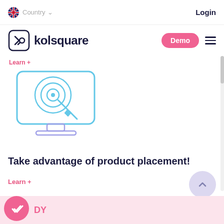Country  Login
[Figure (logo): Kolsquare logo with icon and text, Demo button, hamburger menu]
Learn +
[Figure (illustration): Monitor icon with target/bullseye and cursor arrow, in blue outline style]
Take advantage of product placement!
Learn +
DY